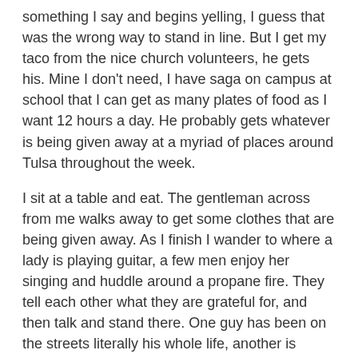something I say and begins yelling, I guess that was the wrong way to stand in line. But I get my taco from the nice church volunteers, he gets his. Mine I don't need, I have saga on campus at school that I can get as many plates of food as I want 12 hours a day. He probably gets whatever is being given away at a myriad of places around Tulsa throughout the week.
I sit at a table and eat. The gentleman across from me walks away to get some clothes that are being given away. As I finish I wander to where a lady is playing guitar, a few men enjoy her singing and huddle around a propane fire. They tell each other what they are grateful for, and then talk and stand there. One guy has been on the streets literally his whole life, another is young but perhaps has the same fate set out in front of him.